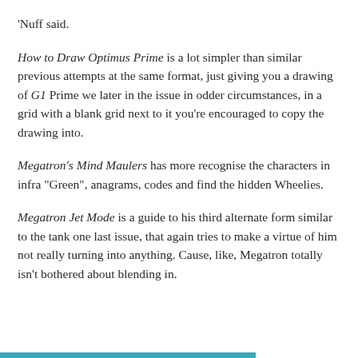'Nuff said.
How to Draw Optimus Prime is a lot simpler than similar previous attempts at the same format, just giving you a drawing of G1 Prime we later in the issue in odder circumstances, in a grid with a blank grid next to it you're encouraged to copy the drawing into.
Megatron's Mind Maulers has more recognise the characters in infra "Green", anagrams, codes and find the hidden Wheelies.
Megatron Jet Mode is a guide to his third alternate form similar to the tank one last issue, that again tries to make a virtue of him not really turning into anything. Cause, like, Megatron totally isn't bothered about blending in.